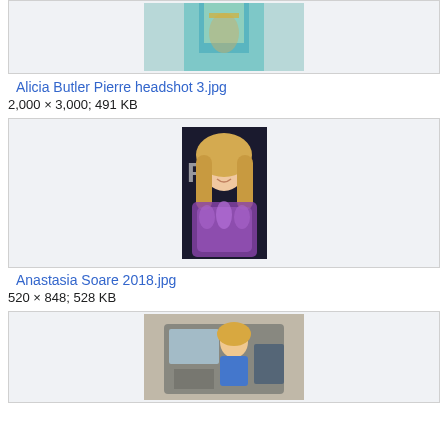[Figure (photo): Partial view of a woman in colorful teal/blue outfit, cropped at top of page]
Alicia Butler Pierre headshot 3.jpg
2,000 × 3,000; 491 KB
[Figure (photo): Woman with long blonde hair wearing a purple feather boa/outfit, standing in front of a backdrop with letter R visible]
Anastasia Soare 2018.jpg
520 × 848; 528 KB
[Figure (photo): Partial view of person sitting in a vehicle/car, photographed at an auto factory or dealership setting]